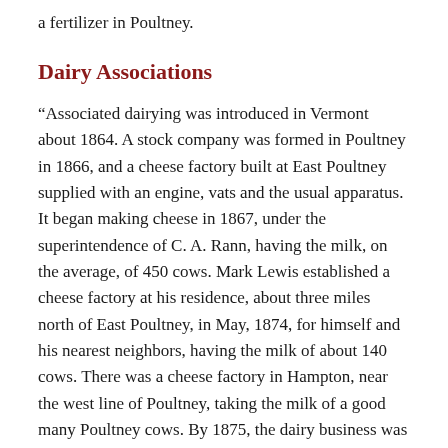a fertilizer in Poultney.
Dairy Associations
“Associated dairying was introduced in Vermont about 1864. A stock company was formed in Poultney in 1866, and a cheese factory built at East Poultney supplied with an engine, vats and the usual apparatus. It began making cheese in 1867, under the superintendence of C. A. Rann, having the milk, on the average, of 450 cows. Mark Lewis established a cheese factory at his residence, about three miles north of East Poultney, in May, 1874, for himself and his nearest neighbors, having the milk of about 140 cows. There was a cheese factory in Hampton, near the west line of Poultney, taking the milk of a good many Poultney cows. By 1875, the dairy business was the leading business among farmers, with probably more than one thousand cows kept in the town.
Farming Wages and Prices